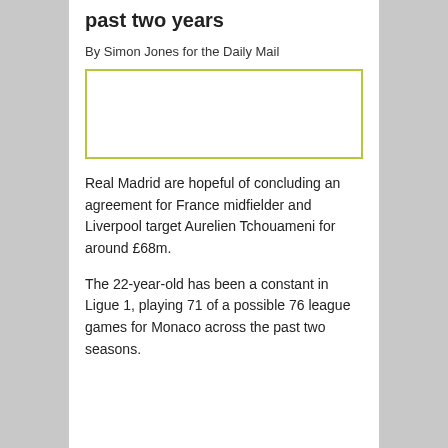past two years
By Simon Jones for the Daily Mail
[Figure (photo): Placeholder image with green border, partially visible photo of Tchouameni]
Real Madrid are hopeful of concluding an agreement for France midfielder and Liverpool target Aurelien Tchouameni for around £68m.
The 22-year-old has been a constant in Ligue 1, playing 71 of a possible 76 league games for Monaco across the past two seasons.